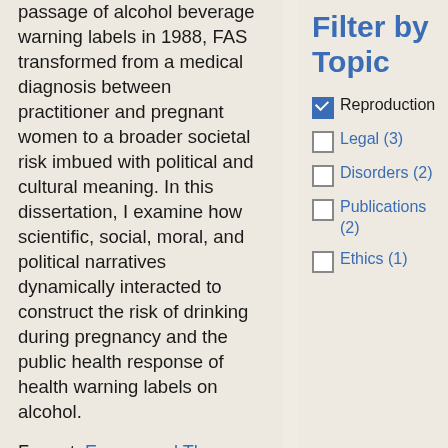passage of alcohol beverage warning labels in 1988, FAS transformed from a medical diagnosis between practitioner and pregnant women to a broader societal risk imbued with political and cultural meaning. In this dissertation, I examine how scientific, social, moral, and political narratives dynamically interacted to construct the risk of drinking during pregnancy and the public health response of health warning labels on alcohol.
Format: Essays and Theses
Subject: Disorders, Reproduction, Legal
Filter by Topic
Reproduction (checked)
Legal (3)
Disorders (2)
Publications (2)
Ethics (1)